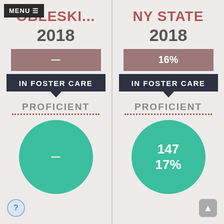OBLESKI... 2018
[Figure (infographic): Mauve/dusty-rose percentage bar showing dash (suppressed data) for In Foster Care proficient, left column]
IN FOSTER CARE
PROFICIENT
[Figure (infographic): Teal circle showing dash (suppressed data), left column]
NY STATE 2018
[Figure (infographic): Mauve/dusty-rose percentage bar showing 16% for In Foster Care proficient, right column]
IN FOSTER CARE
PROFICIENT
[Figure (infographic): Teal circle showing 147 and 17%, right column]